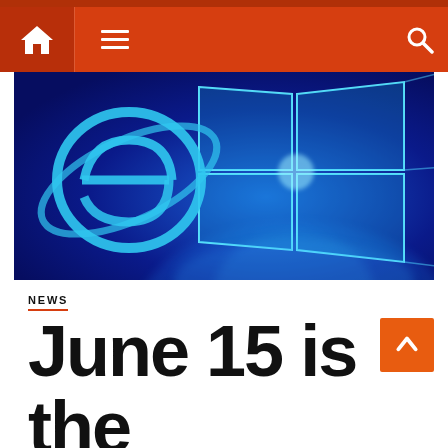Navigation bar with home, menu, and search icons
[Figure (screenshot): Windows 10 logo (four blue glowing window panes) and Internet Explorer 'e' logo on a dark blue background]
NEWS
June 15 is the